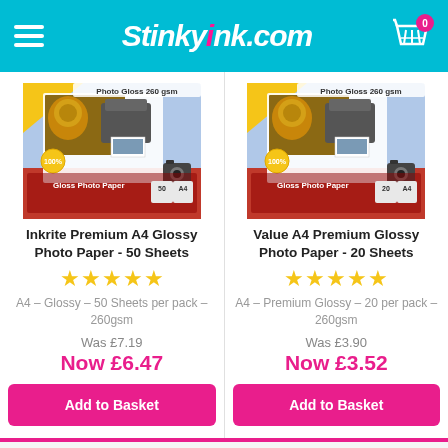Stinkyink.com
[Figure (photo): Inkrite Premium A4 Glossy Photo Paper 50 Sheets product package photo]
Inkrite Premium A4 Glossy Photo Paper - 50 Sheets
★★★★★
A4 – Glossy – 50 Sheets per pack – 260gsm
Was £7.19
Now £6.47
Add to Basket
[Figure (photo): Value A4 Premium Glossy Photo Paper 20 Sheets product package photo]
Value A4 Premium Glossy Photo Paper - 20 Sheets
★★★★★
A4 – Premium Glossy – 20 per pack – 260gsm
Was £3.90
Now £3.52
Add to Basket